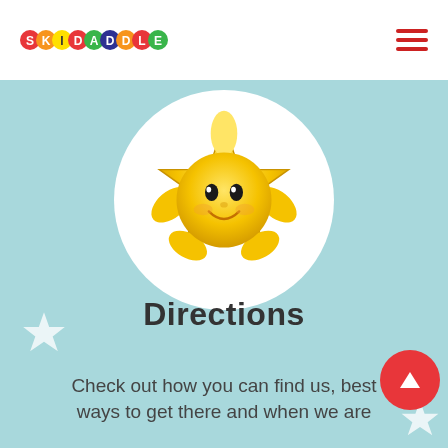[Figure (logo): Skidaddles colorful logo with each letter in a colored circle]
[Figure (illustration): Hamburger menu icon — three horizontal red lines]
[Figure (illustration): Smiling cartoon star character (gold/yellow) centered in a white circle on a light teal background]
Directions
Check out how you can find us, best ways to get there and when we are